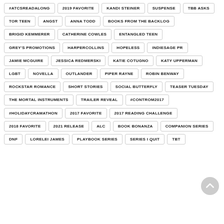#ATCSREADALONG
2019 FAVORITE
KANDI STEINER
SUSPENSE
TBB ASKS
TOR TEEN
ANGST
ANNA TODD
BOOKS FROM THE BACKLOG
BRIGID KEMMERER
CATHERINE COWLES
ENTANGLED TEEN
GREY'S PROMOTIONS
HARPERCOLLINS
HOPELESS
INDIESAGE PR
JAMIE MCGUIRE
JESSICA REDMERSKI
KATIE COTUGNO
KATY UPPERMAN
LGBT
NOVELLA
OUTLANDER
PIPER RAYNE
ROBIN BENWAY
ROCKSTAR ROMANCE
SHORT STORIES
SOCIAL BUTTERFLY
TEASER TUESDAY
THE MORTAL INSTRUMENTS
TRAILER REVEAL
#CONTROM2017
#HOLIDAYCRAMATHON
2017 FAVORITE
2017 READING CHALLENGE
2018 FAVORITE
2021 RELEASE
ALC
BOOK BONANZA
COMPANION SERIES
DNF
LORELEI JAMES
PLAYBOOK SERIES
SERIES I QUIT
TBT